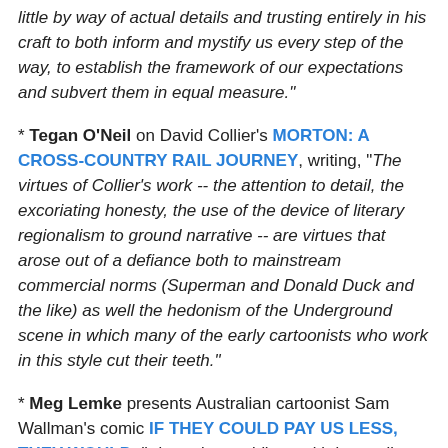little by way of actual details and trusting entirely in his craft to both inform and mystify us every step of the way, to establish the framework of our expectations and subvert them in equal measure."
* Tegan O'Neil on David Collier's MORTON: A CROSS-COUNTRY RAIL JOURNEY, writing, "The virtues of Collier's work -- the attention to detail, the excoriating honesty, the use of the device of literary regionalism to ground narrative -- are virtues that arose out of a defiance both to mainstream commercial norms (Superman and Donald Duck and the like) as well the hedonism of the Underground scene in which many of the early cartoonists who work in this style cut their teeth."
* Meg Lemke presents Australian cartoonist Sam Wallman's comic IF THEY COULD PAY US LESS, THEY WOULD, "about the world's wealth inequality and how the notion of minimum wage is being contested in the modern era."
WHATNOT